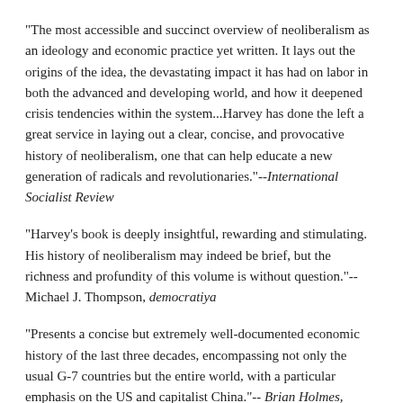"The most accessible and succinct overview of neoliberalism as an ideology and economic practice yet written. It lays out the origins of the idea, the devastating impact it has had on labor in both the advanced and developing world, and how it deepened crisis tendencies within the system...Harvey has done the left a great service in laying out a clear, concise, and provocative history of neoliberalism, one that can help educate a new generation of radicals and revolutionaries."--International Socialist Review
"Harvey's book is deeply insightful, rewarding and stimulating. His history of neoliberalism may indeed be brief, but the richness and profundity of this volume is without question."--Michael J. Thompson, democratiya
"Presents a concise but extremely well-documented economic history of the last three decades, encompassing not only the usual G-7 countries but the entire world, with a particular emphasis on the US and capitalist China."-- Brian Holmes, Interactivist Info Exchange
"David Harvey has done it again. He has provided us with the most lively, readable, comprehensive, and critical guide to what might be called 'the